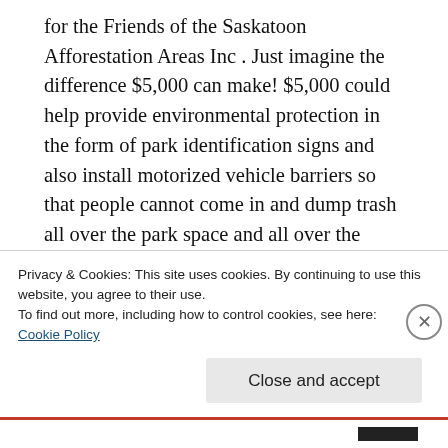for the Friends of the Saskatoon Afforestation Areas Inc . Just imagine the difference $5,000 can make! $5,000 could help provide environmental protection in the form of park identification signs and also install motorized vehicle barriers so that people cannot come in and dump trash all over the park space and all over the trails willy nilly.  The afforestation areas are amazing places to decompress and partake in wonderful social distancing while getting out
Privacy & Cookies: This site uses cookies. By continuing to use this website, you agree to their use.
To find out more, including how to control cookies, see here:
Cookie Policy
Close and accept